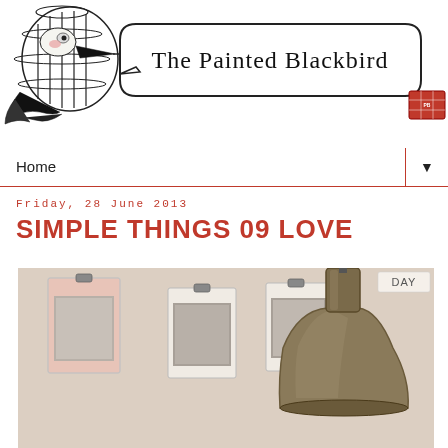The Painted Blackbird
Home
Friday, 28 June 2013
SIMPLE THINGS 09 LOVE
[Figure (photo): Interior photo showing clipboards with black and white photos hung on a wall, and a large bronze/brass industrial pendant lamp in the foreground. A 'DAY' label visible in top right corner.]